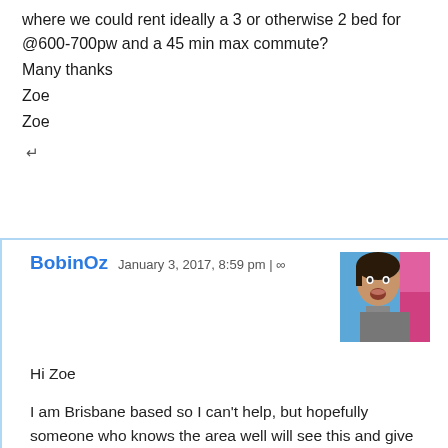where we could rent ideally a 3 or otherwise 2 bed for @600-700pw and a 45 min max commute?
Many thanks
Zoe
Zoe
↵
BobinOz  January 3, 2017, 8:59 pm | ∞
[Figure (photo): Avatar photo of BobinOz, a man against a colorful background]
Hi Zoe

I am Brisbane based so I can't help, but hopefully someone who knows the area well will see this and give you an answer. Anybody got any ideas?
↵